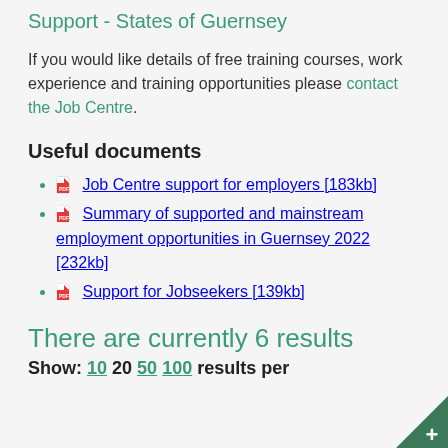Support - States of Guernsey
If you would like details of free training courses, work experience and training opportunities please contact the Job Centre.
Useful documents
Job Centre support for employers [183kb]
Summary of supported and mainstream employment opportunities in Guernsey 2022 [232kb]
Support for Jobseekers [139kb]
There are currently 6 results
Show: 10 20 50 100 results per